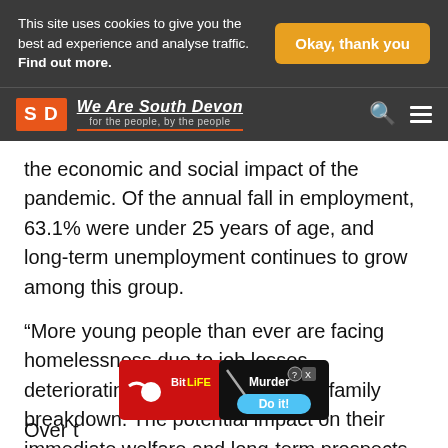This site uses cookies to give you the best ad experience and analyse traffic. Find out more.
Okay, thank you
We Are South Devon — for the people, by the people
the economic and social impact of the pandemic. Of the annual fall in employment, 63.1% were under 25 years of age, and long-term unemployment continues to grow among this group.
“More young people than ever are facing homelessness due to job losses, deteriorating mental health and/or family breakdown. The potential impact on their immediate welfare and long-term prospects are huge.”
Over t
[Figure (screenshot): BitLife advertisement banner showing red background with BitLife logo, a knife graphic, 'Murder' text, and 'Do it!' button in blue]